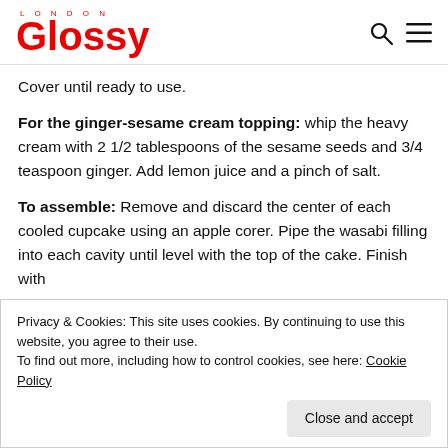Glossy London
Cover until ready to use.
For the ginger-sesame cream topping: whip the heavy cream with 2 1/2 tablespoons of the sesame seeds and 3/4 teaspoon ginger. Add lemon juice and a pinch of salt.
To assemble: Remove and discard the center of each cooled cupcake using an apple corer. Pipe the wasabi filling into each cavity until level with the top of the cake. Finish with
Privacy & Cookies: This site uses cookies. By continuing to use this website, you agree to their use.
To find out more, including how to control cookies, see here: Cookie Policy